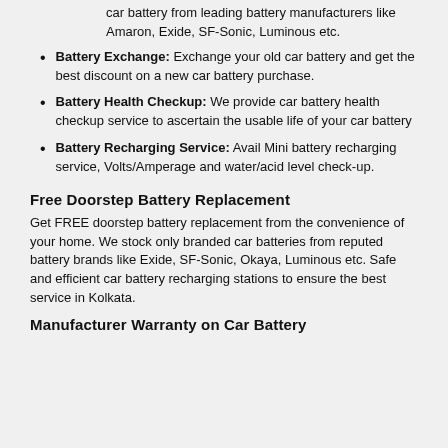car battery from leading battery manufacturers like Amaron, Exide, SF-Sonic, Luminous etc.
Battery Exchange: Exchange your old car battery and get the best discount on a new car battery purchase.
Battery Health Checkup: We provide car battery health checkup service to ascertain the usable life of your car battery
Battery Recharging Service: Avail Mini battery recharging service, Volts/Amperage and water/acid level check-up.
Free Doorstep Battery Replacement
Get FREE doorstep battery replacement from the convenience of your home. We stock only branded car batteries from reputed battery brands like Exide, SF-Sonic, Okaya, Luminous etc. Safe and efficient car battery recharging stations to ensure the best service in Kolkata.
Manufacturer Warranty on Car Battery